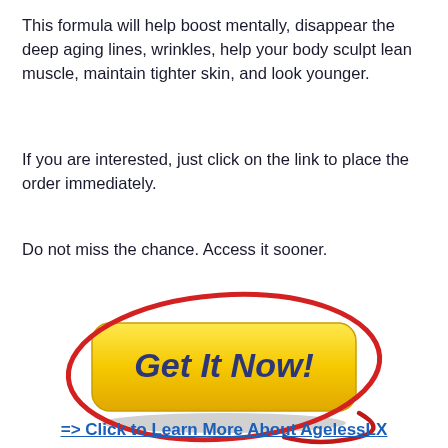This formula will help boost mentally, disappear the deep aging lines, wrinkles, help your body sculpt lean muscle, maintain tighter skin, and look younger.
If you are interested, just click on the link to place the order immediately.
Do not miss the chance. Access it sooner.
[Figure (illustration): A yellow rounded-rectangle button labeled 'Get It Now!' in bold dark blue italic text, encircled by a hand-drawn red oval ellipse.]
=> Click to Learn More About AgelessLX